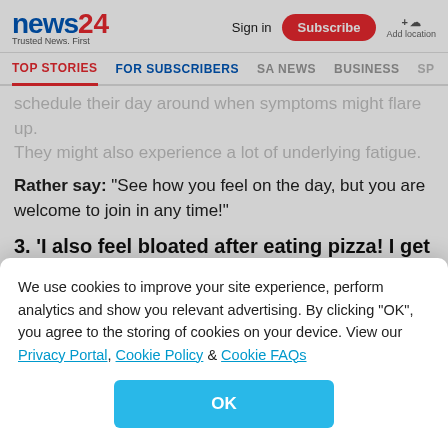news24 Trusted News. First | Sign in | Subscribe | Add location
TOP STORIES | FOR SUBSCRIBERS | SA NEWS | BUSINESS | SP
schedule their day around when symptoms might flare up. They might also experience a lot of underlying fatigue.
Rather say: “See how you feel on the day, but you are welcome to join in any time!”
3. ‘I also feel bloated after eating pizza! I get it.’
Mild food intolerance and the occasional bout of
We use cookies to improve your site experience, perform analytics and show you relevant advertising. By clicking “OK”, you agree to the storing of cookies on your device. View our Privacy Portal, Cookie Policy & Cookie FAQs
OK